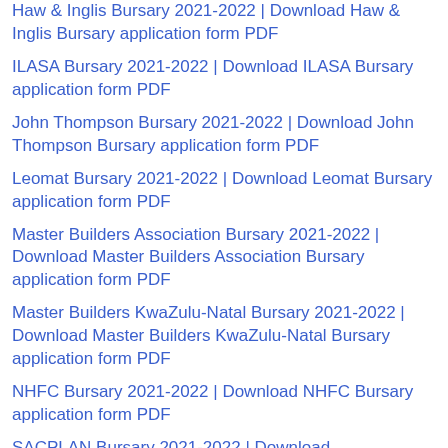Haw & Inglis Bursary 2021-2022 | Download Haw & Inglis Bursary application form PDF
ILASA Bursary 2021-2022 | Download ILASA Bursary application form PDF
John Thompson Bursary 2021-2022 | Download John Thompson Bursary application form PDF
Leomat Bursary 2021-2022 | Download Leomat Bursary application form PDF
Master Builders Association Bursary 2021-2022 | Download Master Builders Association Bursary application form PDF
Master Builders KwaZulu-Natal Bursary 2021-2022 | Download Master Builders KwaZulu-Natal Bursary application form PDF
NHFC Bursary 2021-2022 | Download NHFC Bursary application form PDF
SACPLAN Bursary 2021-2022 | Download